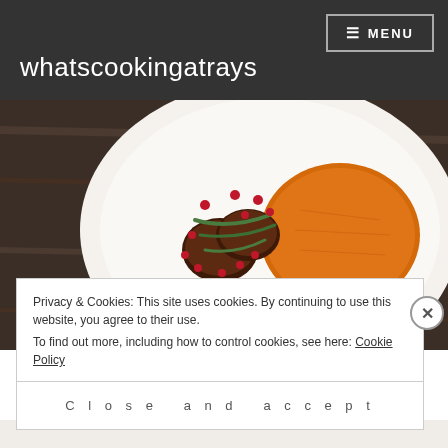whatscookingatrays  ≡ MENU
[Figure (photo): A white plate with roasted or braised meat medallions garnished with green beans/samphire and pomegranate seeds, alongside an orange puree (possibly carrot or sweet potato), photographed on a dark wooden surface.]
Privacy & Cookies: This site uses cookies. By continuing to use this website, you agree to their use.
To find out more, including how to control cookies, see here: Cookie Policy
Close and accept